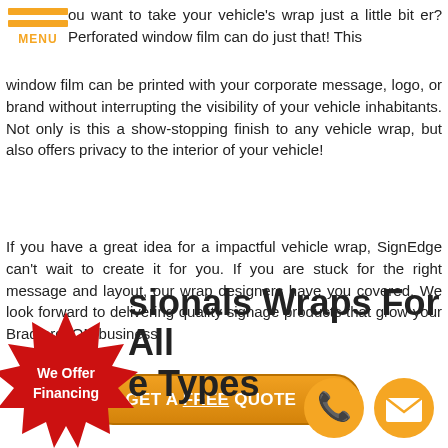[Figure (logo): Orange hamburger menu icon with two orange bars and MENU label in orange text]
ou want to take your vehicle's wrap just a little bit er? Perforated window film can do just that! This window film can be printed with your corporate message, logo, or brand without interrupting the visibility of your vehicle inhabitants. Not only is this a show-stopping finish to any vehicle wrap, but also offers privacy to the interior of your vehicle!
If you have a great idea for a impactful vehicle wrap, SignEdge can’t wait to create it for you. If you are stuck for the right message and layout, our wrap designers have you covered. We look forward to delivering quality signage products that grow your Bradford, ON business.
GET A FREE QUOTE 👆
[Figure (illustration): Red starburst badge with white text reading We Offer Financing]
sionals Wraps For All    e Types
[Figure (illustration): Two orange circular icons: phone icon and mail/envelope icon]